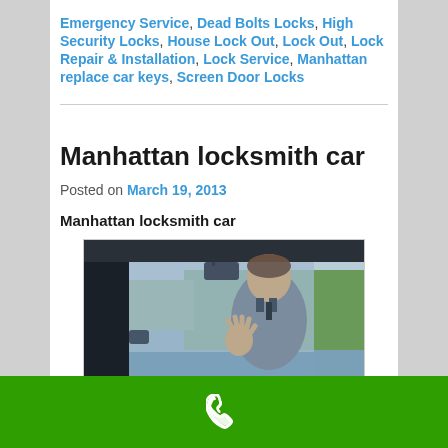Emergency Service, Dead Bolts Locks, High Security Locks, House Lock Out, Lock Out, Lock Repair & Installation, Lock Service, Manhattan replace car keys, Screen Door Locks
Manhattan locksmith car
Posted on March 19, 2013
Manhattan locksmith car
[Figure (photo): A man in a suit looking into a car through the window from outside, viewed from inside the car showing steering wheel and dashboard]